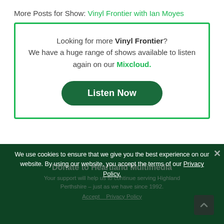More Posts for Show: Vinyl Frontier with Ian Moyes
Looking for more Vinyl Frontier? We have a huge range of shows available to listen again on our Mixcloud.
Listen Now
We use cookies to ensure that we give you the best experience on our website. By using our website, you accept the terms of our Privacy Policy.
Donate to Heartland Multimedia
Your support will help us to continue serving Highland Perthshire – just as we have since 1992.
Accept   Privacy Policy